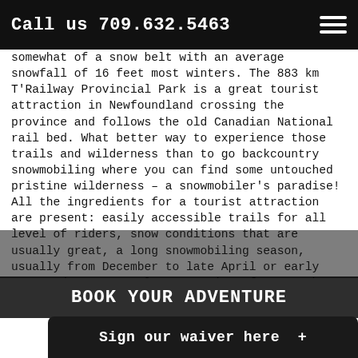Call us 709.632.5463
somewhat of a snow belt with an average snowfall of 16 feet most winters. The 883 km T'Railway Provincial Park is a great tourist attraction in Newfoundland crossing the province and follows the old Canadian National rail bed. What better way to experience those trails and wilderness than to go backcountry snowmobiling where you can find some untouched pristine wilderness – a snowmobiler's paradise! All the ingredients for a tourist attraction are present: easily accessible trails for all level of riders, snow conditions that are usually great, a long snowmobiling season, usually from December to late April or early May, and, as a result, mountains of snow – but be careful there exists the possibility of avalanches! Right before you is a good mix of groomed trails and open terrain over which you will cross flat areas, undulating hills, mountainous and coastal regions. Groomed trails will take you into the remote backcountry area where there will be many opportunities to leave the marked trails and get a taste of powder riding on the unmarked trails. Photography opport... foreste... lleng...
BOOK YOUR ADVENTURE
Sign our waiver here +